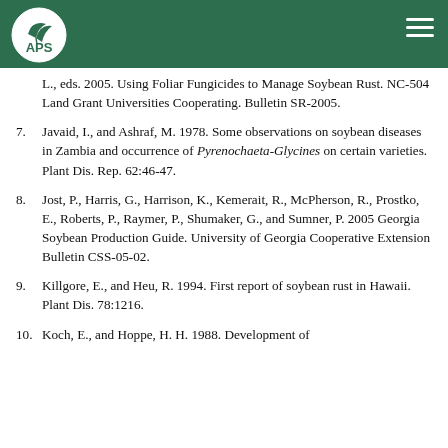APS (logo)
L., eds. 2005. Using Foliar Fungicides to Manage Soybean Rust. NC-504 Land Grant Universities Cooperating. Bulletin SR-2005.
7. Javaid, I., and Ashraf, M. 1978. Some observations on soybean diseases in Zambia and occurrence of Pyrenochaeta-Glycines on certain varieties. Plant Dis. Rep. 62:46-47.
8. Jost, P., Harris, G., Harrison, K., Kemerait, R., McPherson, R., Prostko, E., Roberts, P., Raymer, P., Shumaker, G., and Sumner, P. 2005 Georgia Soybean Production Guide. University of Georgia Cooperative Extension Bulletin CSS-05-02.
9. Killgore, E., and Heu, R. 1994. First report of soybean rust in Hawaii. Plant Dis. 78:1216.
10. Koch, E., and Hoppe, H. H. 1988. Development of